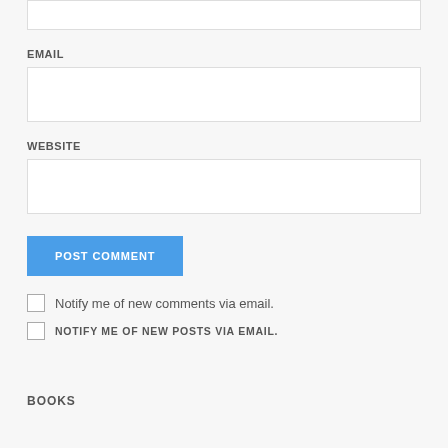(top input box — truncated at top)
EMAIL
(email input field)
WEBSITE
(website input field)
POST COMMENT
Notify me of new comments via email.
NOTIFY ME OF NEW POSTS VIA EMAIL.
BOOKS